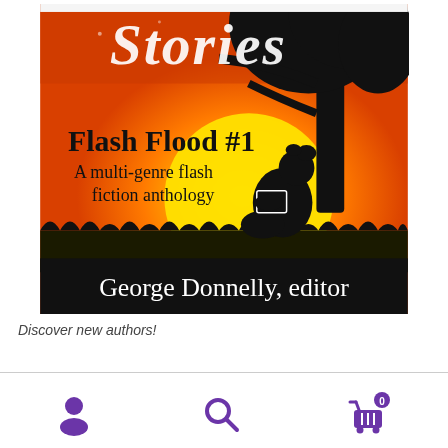[Figure (illustration): Book cover for 'Flash Flood Stories #1: A multi-genre flash fiction anthology' edited by George Donnelly. Orange and yellow sunset background with silhouette of a person sitting under a tree reading a book. Script title 'Stories' at top, bold text 'Flash Flood #1', subtitle 'A multi-genre flash fiction anthology', and 'George Donnelly, editor' in white text on black banner at bottom.]
Discover new authors!